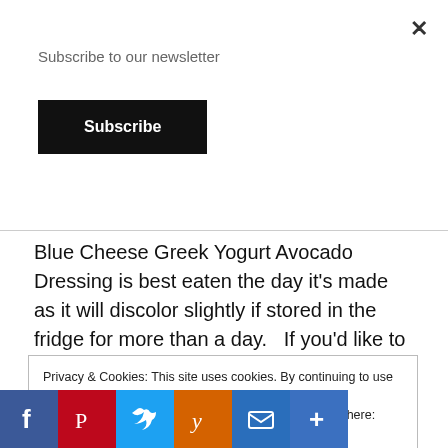Subscribe to our newsletter
Subscribe
Blue Cheese Greek Yogurt Avocado Dressing is best eaten the day it's made as it will discolor slightly if stored in the fridge for more than a day.   If you'd like to see other healthy salad dressings check out: Kefir Avocado Basil Dressing, Blue Cheese Rosemary Greek Yogurt Dressing, and Avocado Kefir Caesar Salad
Privacy & Cookies: This site uses cookies. By continuing to use this website, you agree to their use.
To find out more, including how to control cookies, see here: Cookie Policy
Close and accept
[Figure (infographic): Social share bar with Facebook, Pinterest, Twitter, Yummly, Email, and Plus icons]